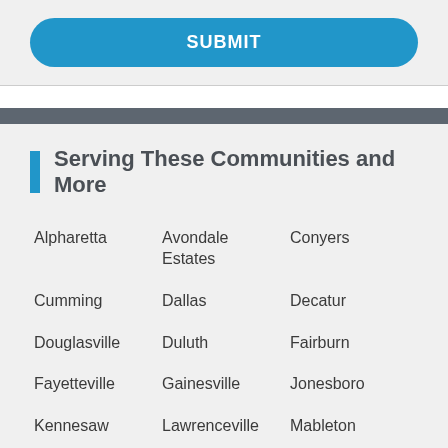SUBMIT
Serving These Communities and More
Alpharetta
Avondale Estates
Conyers
Cumming
Dallas
Decatur
Douglasville
Duluth
Fairburn
Fayetteville
Gainesville
Jonesboro
Kennesaw
Lawrenceville
Mableton
Marietta
Morrow
Newnan